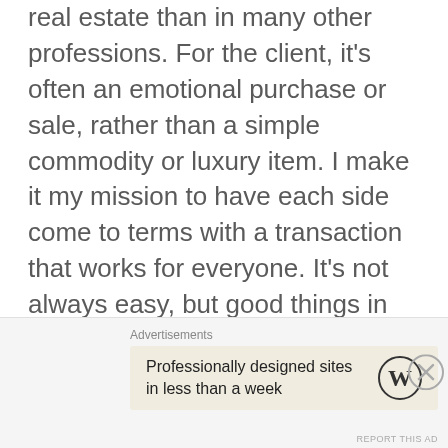real estate than in many other professions. For the client, it's often an emotional purchase or sale, rather than a simple commodity or luxury item. I make it my mission to have each side come to terms with a transaction that works for everyone. It's not always easy, but good things in life usually take effort – something from which I've never shied. Licensed since 2009 as a real estate sales agent in CT & NY, I often work with clients on the border of
Advertisements
Professionally designed sites in less than a week